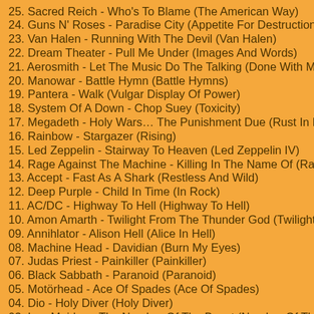25. Sacred Reich - Who's To Blame (The American Way)
24. Guns N' Roses - Paradise City (Appetite For Destruction)
23. Van Halen - Running With The Devil (Van Halen)
22. Dream Theater - Pull Me Under (Images And Words)
21. Aerosmith - Let The Music Do The Talking (Done With Mirrors)
20. Manowar - Battle Hymn (Battle Hymns)
19. Pantera - Walk (Vulgar Display Of Power)
18. System Of A Down - Chop Suey (Toxicity)
17. Megadeth - Holy Wars… The Punishment Due (Rust In Peace)
16. Rainbow - Stargazer (Rising)
15. Led Zeppelin - Stairway To Heaven (Led Zeppelin IV)
14. Rage Against The Machine - Killing In The Name Of (Rage Again…
13. Accept - Fast As A Shark (Restless And Wild)
12. Deep Purple - Child In Time (In Rock)
11. AC/DC - Highway To Hell (Highway To Hell)
10. Amon Amarth - Twilight From The Thunder God (Twilight From T…
09. Annihlator - Alison Hell (Alice In Hell)
08. Machine Head - Davidian (Burn My Eyes)
07. Judas Priest - Painkiller (Painkiller)
06. Black Sabbath - Paranoid (Paranoid)
05. Motörhead - Ace Of Spades (Ace Of Spades)
04. Dio - Holy Diver (Holy Diver)
03. Iron Maiden - The Number Of The Beast (Number Of The Bea…